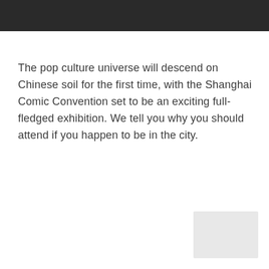The pop culture universe will descend on Chinese soil for the first time, with the Shanghai Comic Convention set to be an exciting full-fledged exhibition. We tell you why you should attend if you happen to be in the city.